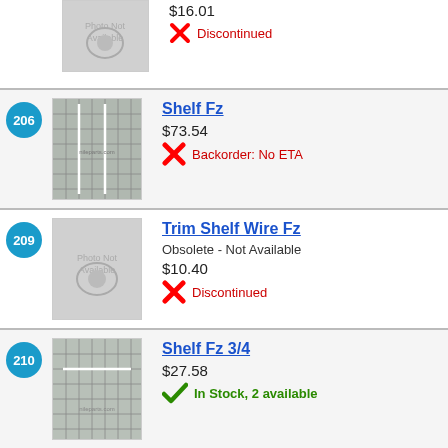[Figure (screenshot): Partial product row: Photo Not Available thumbnail, price $16.01, Discontinued status]
[Figure (screenshot): Product 206 - Shelf Fz: wire shelf grid thumbnail, price $73.54, Backorder: No ETA]
[Figure (screenshot): Product 209 - Trim Shelf Wire Fz: Photo Not Available thumbnail, price $10.40, Discontinued]
[Figure (screenshot): Product 210 - Shelf Fz 3/4: wire shelf grid thumbnail, price $27.58, In Stock 2 available]